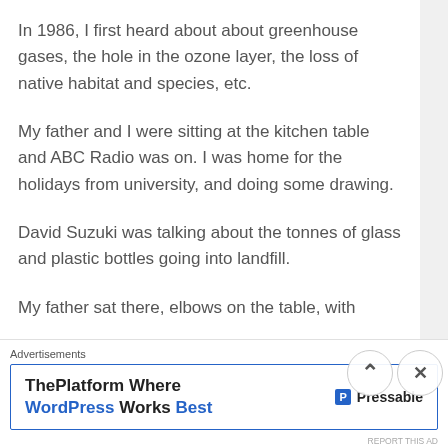In 1986, I first heard about about greenhouse gases, the hole in the ozone layer, the loss of native habitat and species, etc.
My father and I were sitting at the kitchen table and ABC Radio was on. I was home for the holidays from university, and doing some drawing.
David Suzuki was talking about the tonnes of glass and plastic bottles going into landfill.
My father sat there, elbows on the table, with
Advertisements
ThePlatform Where WordPress Works Best    P Pressable